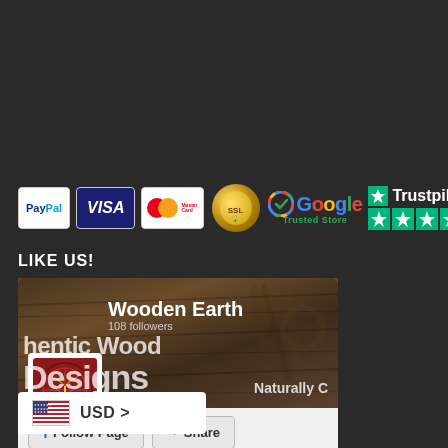[Figure (infographic): Payment badges row: PayPal, Visa, MasterCard, SSL certificate badge, Google Trusted Store badge, Trustpilot 5-star badge]
LIKE US!
[Figure (screenshot): Facebook page widget for Wooden Earth showing page name, 108 followers, cover image with wood design text, Follow Page and Share buttons]
[Figure (infographic): Currency selector widget showing US flag and USD > text]